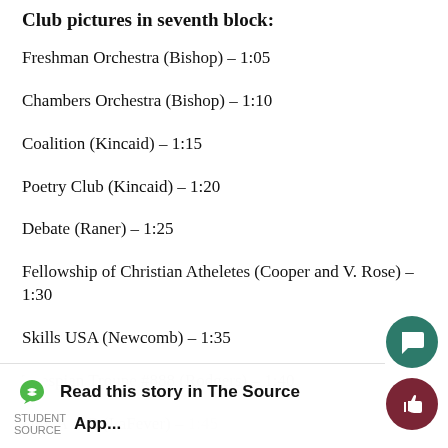Club pictures in seventh block:
Freshman Orchestra (Bishop) – 1:05
Chambers Orchestra (Bishop) – 1:10
Coalition (Kincaid) – 1:15
Poetry Club (Kincaid) – 1:20
Debate (Raner) – 1:25
Fellowship of Christian Atheletes (Cooper and V. Rose) – 1:30
Skills USA (Newcomb) – 1:35
Thespian Troupe #888 (Rodgers) – 1:40
DECA A.B (LaFever) – 1:45
Key Club (LaFever and Deines) – 1:50